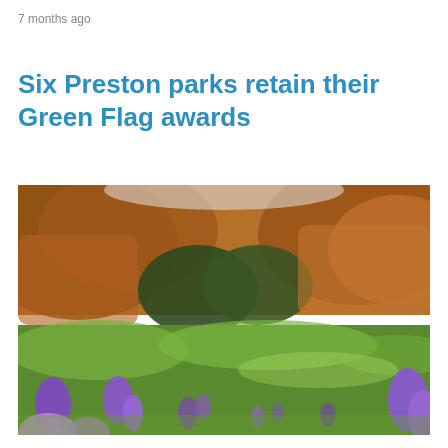7 months ago
Six Preston parks retain their Green Flag awards
[Figure (photo): Low-angle photograph of purple crocus flowers blooming in a green grassy field, with autumn-coloured brown and orange trees/shrubs in the blurred background.]